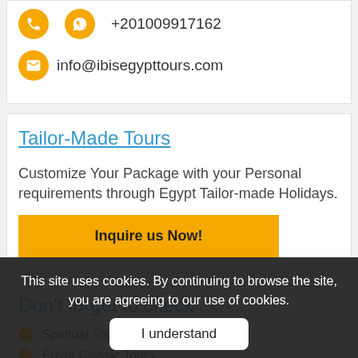+201009917162
info@ibisegypttours.com
Tailor-Made Tours
Customize Your Package with your Personal requirements through Egypt Tailor-made Holidays.
Inquire us Now!
Don't forget to check
Spiritual Tours to Egypt
Egypt Classic Tours
This site uses cookies. By continuing to browse the site, you are agreeing to our use of cookies.
I understand